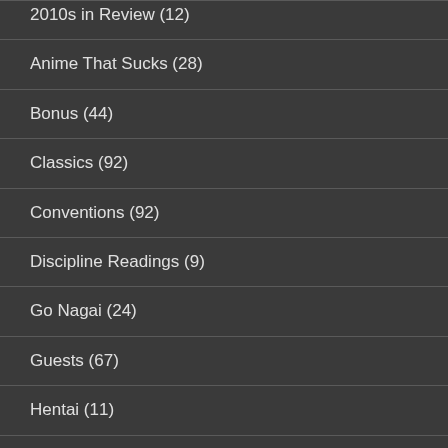2010s in Review (12)
Anime That Sucks (28)
Bonus (44)
Classics (92)
Conventions (92)
Discipline Readings (9)
Go Nagai (24)
Guests (67)
Hentai (11)
Interviews (30)
Manga (50)
Osamu Tezuka (37)